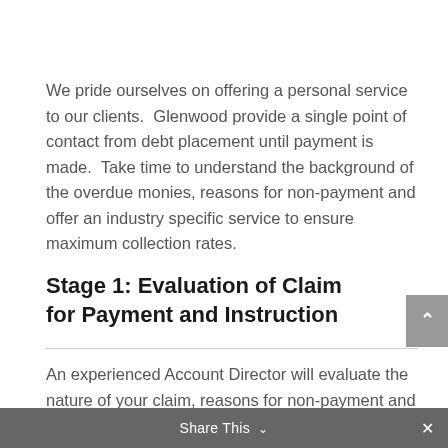We pride ourselves on offering a personal service to our clients.  Glenwood provide a single point of contact from debt placement until payment is made.  Take time to understand the background of the overdue monies, reasons for non-payment and offer an industry specific service to ensure maximum collection rates.
Stage 1: Evaluation of Claim for Payment and Instruction
An experienced Account Director will evaluate the nature of your claim, reasons for non-payment and agree a NO COLLECTION – NO FEE percentage for successful recovery.  Please note we also facilitate the recovery of bulk instructions such retention balances